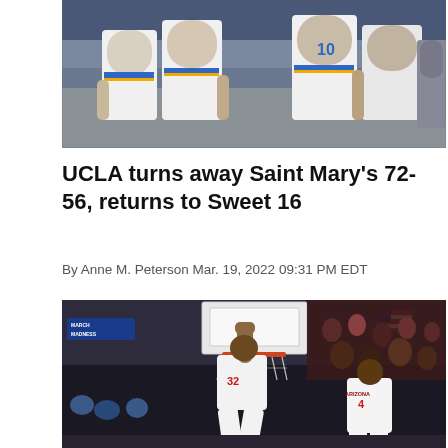[Figure (photo): UCLA basketball players in white uniforms standing together, partial view showing jerseys and shorts, number 10 visible]
UCLA turns away Saint Mary's 72-56, returns to Sweet 16
By Anne M. Peterson Mar. 19, 2022 09:31 PM EDT
[Figure (photo): Basketball player in white Arizona uniform dunking the ball during March Madness NCAA tournament game, second player in white uniform visible to the right, crowd in background]